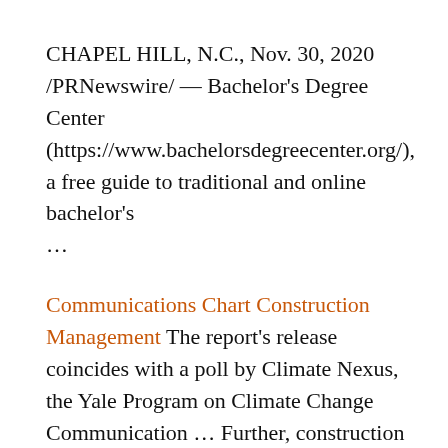CHAPEL HILL, N.C., Nov. 30, 2020 /PRNewswire/ — Bachelor's Degree Center (https://www.bachelorsdegreecenter.org/), a free guide to traditional and online bachelor's ...
Communications Chart Construction Management The report's release coincides with a poll by Climate Nexus, the Yale Program on Climate Change Communication ... Further, construction and property management jobs by their nature cannot ... Flow charts are not an official ... inventory and materials management, just-in-time, ...